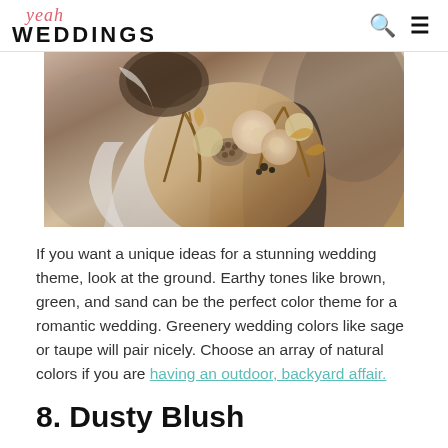yeah WEDDINGS
[Figure (photo): A bride holding a large rustic bouquet with cream roses, dried palm leaves, lotus pods, and brown foliage in earthy tones. The bride is wearing a white dress and a decorative headpiece.]
If you want a unique ideas for a stunning wedding theme, look at the ground. Earthy tones like brown, green, and sand can be the perfect color theme for a romantic wedding. Greenery wedding colors like sage or taupe will pair nicely. Choose an array of natural colors if you are having an outdoor, backyard affair.
8. Dusty Blush